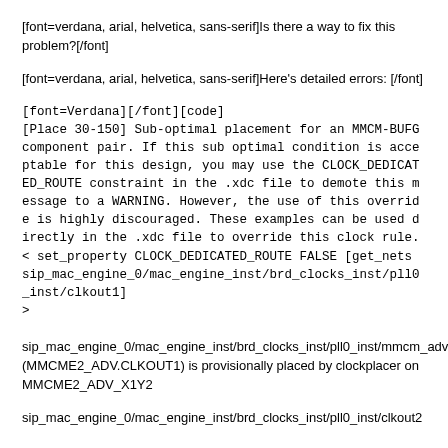[font=verdana, arial, helvetica, sans-serif]Is there a way to fix this problem?[/font]
[font=verdana, arial, helvetica, sans-serif]Here's detailed errors: [/font]
[font=Verdana][/font][code]
[Place 30-150] Sub-optimal placement for an MMCM-BUFG component pair. If this sub optimal condition is acceptable for this design, you may use the CLOCK_DEDICATED_ROUTE constraint in the .xdc file to demote this message to a WARNING. However, the use of this override is highly discouraged. These examples can be used directly in the .xdc file to override this clock rule.
< set_property CLOCK_DEDICATED_ROUTE FALSE [get_nets sip_mac_engine_0/mac_engine_inst/brd_clocks_inst/pll0_inst/clkout1]
>
sip_mac_engine_0/mac_engine_inst/brd_clocks_inst/pll0_inst/mmcm_adv_inst (MMCME2_ADV.CLKOUT1) is provisionally placed by clockplacer on MMCME2_ADV_X1Y2
sip_mac_engine_0/mac_engine_inst/brd_clocks_inst/pll0_inst/clkout2